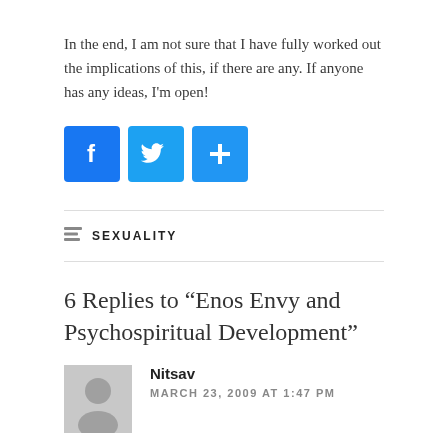In the end, I am not sure that I have fully worked out the implications of this, if there are any. If anyone has any ideas, I'm open!
[Figure (infographic): Three social sharing buttons: Facebook (blue with F logo), Twitter (blue with bird logo), and a share/plus button (blue with + symbol)]
SEXUALITY
6 Replies to “Enos Envy and Psychospiritual Development”
Nitsav
MARCH 23, 2009 AT 1:47 PM